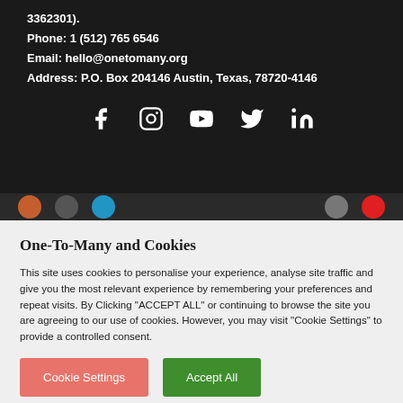3362301).
Phone: 1 (512) 765 6546
Email: hello@onetomany.org
Address: P.O. Box 204146 Austin, Texas, 78720-4146
[Figure (infographic): Social media icons: Facebook, Instagram, YouTube, Twitter, LinkedIn]
One-To-Many and Cookies
This site uses cookies to personalise your experience, analyse site traffic and give you the most relevant experience by remembering your preferences and repeat visits. By Clicking "ACCEPT ALL" or continuing to browse the site you are agreeing to our use of cookies. However, you may visit "Cookie Settings" to provide a controlled consent.
Cookie Settings | Accept All